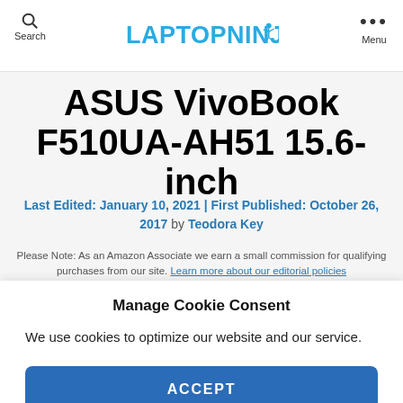Search | LAPTOPNINJA | Menu
ASUS VivoBook F510UA-AH51 15.6-inch
Last Edited: January 10, 2021 | First Published: October 26, 2017 by Teodora Key
Please Note: As an Amazon Associate we earn a small commission for qualifying purchases from our site. Learn more about our editorial policies
Manage Cookie Consent
We use cookies to optimize our website and our service.
ACCEPT